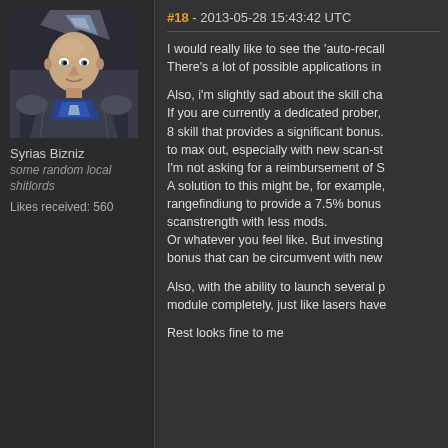[Figure (photo): Avatar portrait of a bald male character in futuristic armor from a sci-fi video game (EVE Online), dark background]
Syrias Bizniz
some random local shitlords
Likes received: 560
#18 - 2013-05-28 15:43:42 UTC
I would really like to see the 'auto-recall There's a lot of possible applications in
Also, i'm slightly sad about the skill cha If you are currently a dedicated prober, 8 skill that provides a significant bonus. to max out, especially with new scan-st I'm not asking for a reimbursement of S A solution to this might be, for example, rangefindiung to provide a 7.5% bonus scanstrength with less mods. Or whatever you feel like. But investing bonus that can be circumvent with new
Also, with the ability to launch several p module completely, just like lasers have
Rest looks fine to me